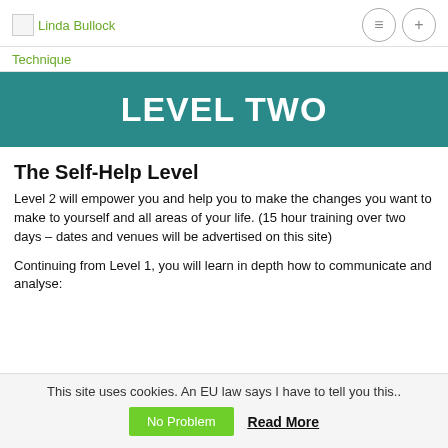Linda Bullock
Technique
LEVEL TWO
The Self-Help Level
Level 2 will empower you and help you to make the changes you want to make to yourself and all areas of your life. (15 hour training over two days – dates and venues will be advertised on this site)
Continuing from Level 1, you will learn in depth how to communicate and analyse:
This site uses cookies. An EU law says I have to tell you this.. No Problem  Read More